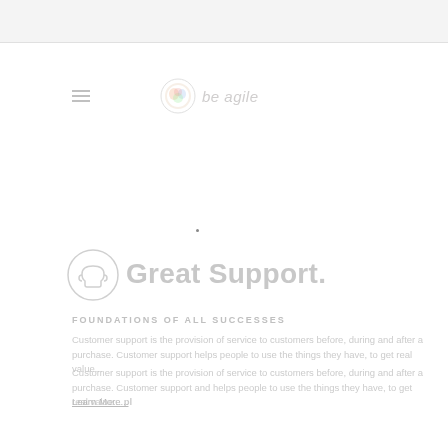[Figure (logo): Colorful circular logo with italic text brand name beside it]
[Figure (illustration): Support/headset icon next to 'Great Support.' heading]
Great Support.
FOUNDATIONS OF ALL SUCCESSES
Customer support is the provision of service to customers before, during and after a purchase. Customer support helps people to use the things they have, to get real value...
Customer support is the provision of service to customers before, during and after a purchase. Customer support and helps people to use the things they have, to get real value... pl
Learn More...